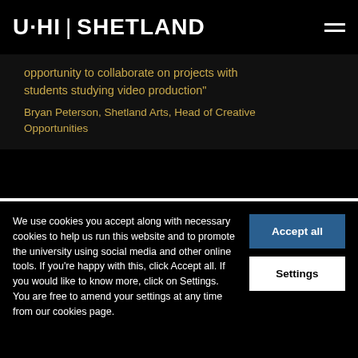UHI SHETLAND
opportunity to collaborate on projects with students studying video production"
Bryan Peterson, Shetland Arts, Head of Creative Opportunities
APPLY FOR CREATIVE INDUSTRIES: MUSIC NC
I WANT TO START IN 2022/23
We use cookies you accept along with necessary cookies to help us run this website and to promote the university using social media and other online tools. If you're happy with this, click Accept all. If you would like to know more, click on Settings. You are free to amend your settings at any time from our cookies page.